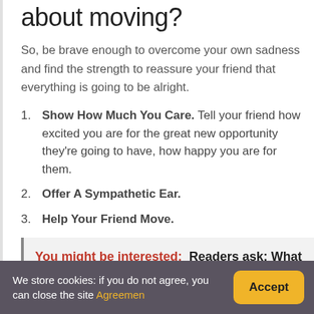about moving?
So, be brave enough to overcome your own sadness and find the strength to reassure your friend that everything is going to be alright.
Show How Much You Care. Tell your friend how excited you are for the great new opportunity they're going to have, how happy you are for them.
Offer A Sympathetic Ear.
Help Your Friend Move.
You might be interested:  Readers ask: What Make You Happy Quotes?
We store cookies: if you do not agree, you can close the site Agreemen